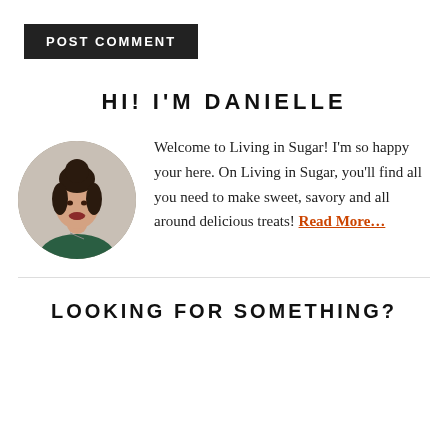POST COMMENT
HI! I'M DANIELLE
[Figure (photo): Circular portrait photo of Danielle, a woman with dark hair up in a bun, wearing a dark green top, smiling at the camera.]
Welcome to Living in Sugar! I'm so happy your here. On Living in Sugar, you'll find all you need to make sweet, savory and all around delicious treats! Read More...
LOOKING FOR SOMETHING?